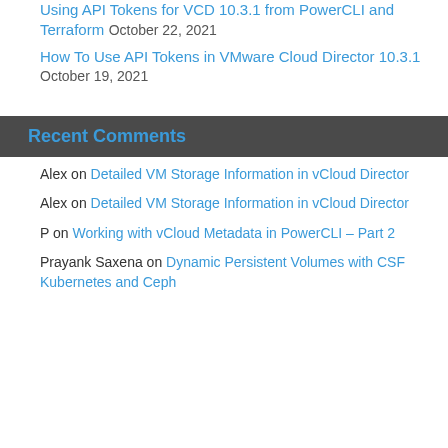Using API Tokens for VCD 10.3.1 from PowerCLI and Terraform October 22, 2021
How To Use API Tokens in VMware Cloud Director 10.3.1 October 19, 2021
Recent Comments
Alex on Detailed VM Storage Information in vCloud Director
Alex on Detailed VM Storage Information in vCloud Director
P on Working with vCloud Metadata in PowerCLI – Part 2
Prayank Saxena on Dynamic Persistent Volumes with CSF Kubernetes and Ceph